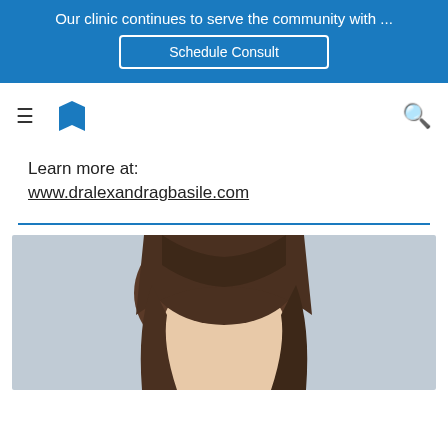Our clinic continues to serve the community with ...
Schedule Consult
[Figure (logo): Blue open book logo with navigation hamburger menu icon on the left and search icon on the right]
Learn more at:
www.dralexandragbasile.com
[Figure (photo): Portrait photo of a woman with dark brown hair against a light gray background, cropped at top of image]